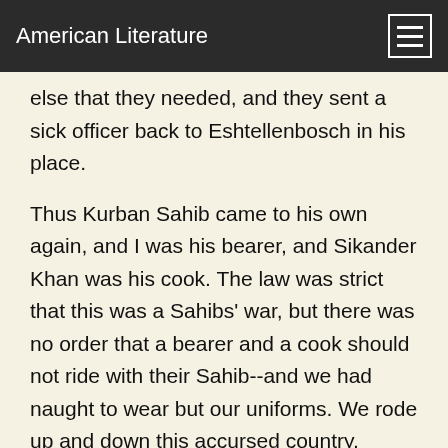American Literature
else that they needed, and they sent a sick officer back to Eshtellenbosch in his place.
Thus Kurban Sahib came to his own again, and I was his bearer, and Sikander Khan was his cook. The law was strict that this was a Sahibs' war, but there was no order that a bearer and a cook should not ride with their Sahib--and we had naught to wear but our uniforms. We rode up and down this accursed country, where there is no bazaar, no pulse, no flour, no oil, no spice, no red pepper, no firewood; nothing but raw corn and a little cattle. There were no great battles as I saw it, but a plenty of gun-firing. When we were many, the Boer-log